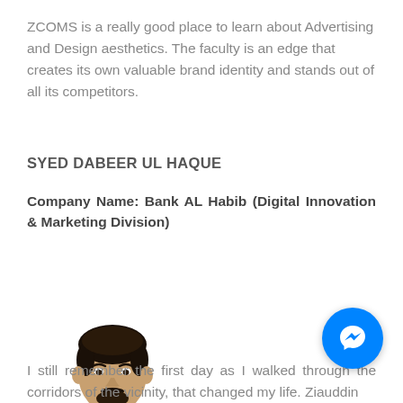ZCOMS is a really good place to learn about Advertising and Design aesthetics. The faculty is an edge that creates its own valuable brand identity and stands out of all its competitors.
SYED DABEER UL HAQUE
Company Name: Bank AL Habib (Digital Innovation & Marketing Division)
[Figure (photo): Photo of Syed Dabeer Ul Haque, a young man with dark hair and beard wearing a mustard/brown jacket with arms crossed, standing against a white background.]
[Figure (other): Facebook Messenger chat button (blue circle with white lightning bolt/messenger icon)]
I still remember the first day as I walked through the corridors of the vicinity, that changed my life. Ziauddin